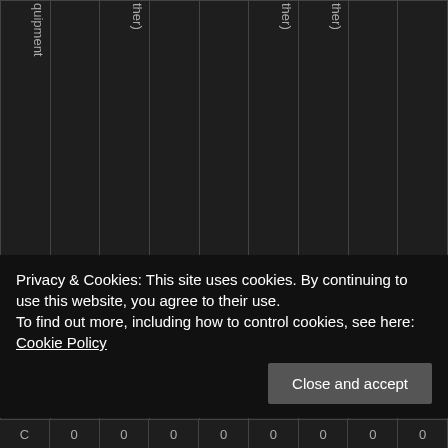| quipment |  | ther) |  |  | ther) | ther) |  |  |
| --- | --- | --- | --- | --- | --- | --- | --- | --- |
| O |  |  |  |  |  |  |  |  |
Privacy & Cookies: This site uses cookies. By continuing to use this website, you agree to their use.
To find out more, including how to control cookies, see here: Cookie Policy
Close and accept
| C | 0 | 0 | 0 | 0 | 0 | 0 | 0 | 0 |
| --- | --- | --- | --- | --- | --- | --- | --- | --- |